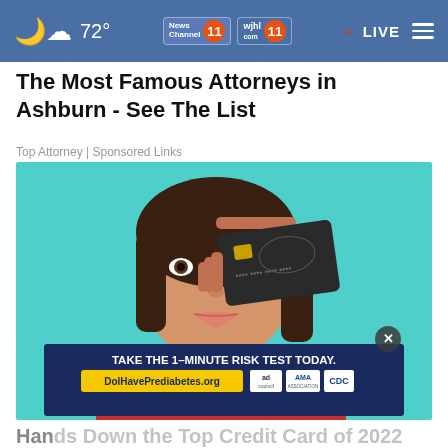☁ 72° | News Channel 11 | wjhl 11 | • LIVE
The Most Famous Attorneys in Ashburn - See The List
Top Attorney | Sponsored Links
[Figure (photo): Woman holding a dark credit card over her eye against a teal background, wearing a red and pink striped top]
TAKE THE 1-MINUTE RISK TEST TODAY. DolHavePrediabetes.org
Hands Down the Top Credit Card of 2022